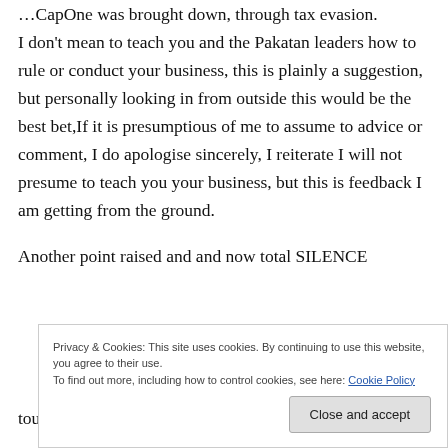…CapOne was brought down, through tax evasion. I don't mean to teach you and the Pakatan leaders how to rule or conduct your business, this is plainly a suggestion, but personally looking in from outside this would be the best bet,If it is presumptious of me to assume to advice or comment, I do apologise sincerely, I reiterate I will not presume to teach you your business, but this is feedback I am getting from the ground.
Another point raised and and now total SILENCE
Privacy & Cookies: This site uses cookies. By continuing to use this website, you agree to their use. To find out more, including how to control cookies, see here: Cookie Policy
Close and accept
tought of letting it go lightly because mi…